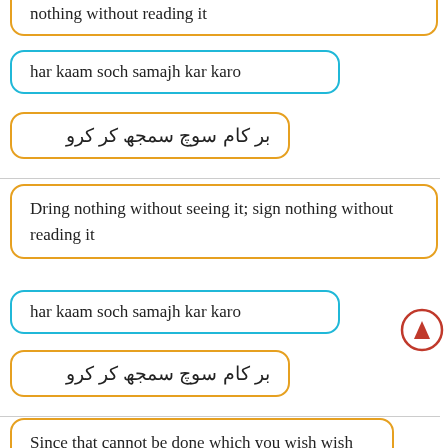nothing without reading it
har kaam soch samajh kar karo
بر کام سوچ سمجھ کر کرو
Dring nothing without seeing it; sign nothing without reading it
har kaam soch samajh kar karo
بر کام سوچ سمجھ کر کرو
Since that cannot be done which you wish wish that which can be done
agar tumhen woh cheez nahi mil sakti jiss